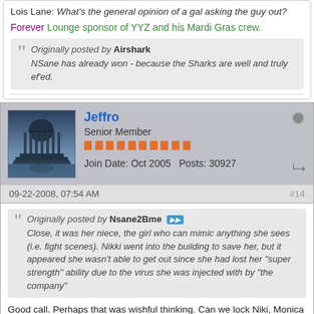Lois Lane: What's the general opinion of a gal asking the guy out?
Forever Lounge sponsor of YYZ and his Mardi Gras crew.
Originally posted by Airshark
NSane has already won - because the Sharks are well and truly ef'ed.
Jeffro
Senior Member
Join Date: Oct 2005  Posts: 30927
09-22-2008, 07:54 AM
#14
Originally posted by Nsane2Bme
Close, it was her niece, the girl who can mimic anything she sees (i.e. fight scenes). Nikki went into the building to save her, but it appeared she wasn't able to get out since she had lost her "super strength" ability due to the virus she was injected with by "the company"
Good call. Perhaps that was wishful thinking. Can we lock Niki, Monica